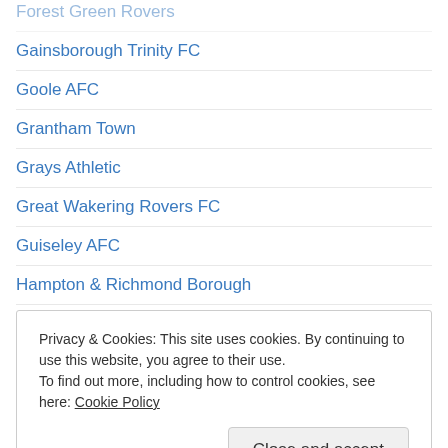Forest Green Rovers
Gainsborough Trinity FC
Goole AFC
Grantham Town
Grays Athletic
Great Wakering Rovers FC
Guiseley AFC
Hampton & Richmond Borough
Harlow Town
Harrogate Town
Harrow Borough FC
Hassocks FC
Hastings United
Havant & Waterlooville
Histon
Privacy & Cookies: This site uses cookies. By continuing to use this website, you agree to their use. To find out more, including how to control cookies, see here: Cookie Policy